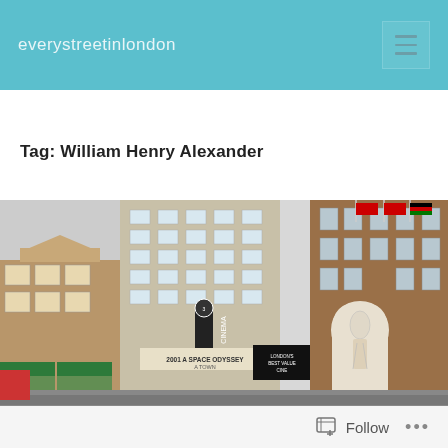everystreetinlondon
Tag: William Henry Alexander
[Figure (photo): Street scene in London showing a cinema with a sign reading 'CINEMA' and '2001 A SPACE ODYSSEY' and 'A TOWN' and 'LONDON'S BEST VALUE CINEMA', alongside a brick building with a white stone statue in an arched niche and flags flying above.]
Follow